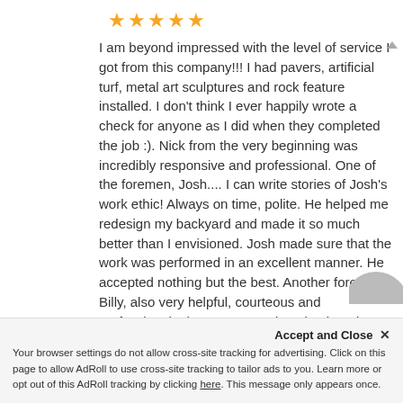[Figure (other): Five gold star rating]
I am beyond impressed with the level of service I got from this company!!! I had pavers, artificial turf, metal art sculptures and rock feature installed. I don't think I ever happily wrote a check for anyone as I did when they completed the job :). Nick from the very beginning was incredibly responsive and professional. One of the foremen, Josh.... I can write stories of Josh's work ethic! Always on time, polite. He helped me redesign my backyard and made it so much better than I envisioned. Josh made sure that the work was performed in an excellent manner. He accepted nothing but the best. Another foreman, Billy, also very helpful, courteous and professional. I have a very unique backyard thanks to them!!! Very happy!
Accept and Close ✕
Your browser settings do not allow cross-site tracking for advertising. Click on this page to allow AdRoll to use cross-site tracking to tailor ads to you. Learn more or opt out of this AdRoll tracking by clicking here. This message only appears once.